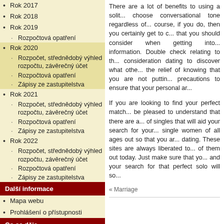Rok 2017
Rok 2018
Rok 2019
Rozpočtová opatření
Rok 2020
Rozpočet, střednědobý výhled rozpočtu, závěrečný účet
Rozpočtová opatření
Zápisy ze zastupitelstva
Rok 2021
Rozpočet, střednědobý výhled rozpočtu, závěrečný účet
Rozpočtová opatření
Zápisy ze zastupitelstva
Rok 2022
Rozpočet, střednědobý výhled rozpočtu, závěrečný účet
Rozpočtová opatření
Zápisy ze zastupitelstva
Další informace
Mapa webu
Prohlášení o přístupnosti
Co se děje
SOS
There are a lot of benefits to using a solit... choose conversational tone regardless of... course, if you do, then you certainly get to c... that you should consider when getting into... information. Double check relating to th... consideration dating to discover what othe... the relief of knowing that you are not puttin... precautions to ensure that your personal ar...
If you are looking to find your perfect match... be pleased to understand that there are a... of singles that will aid your search for your... single women of all ages out so that you ar... dating. These sites are always liberated to... of them out today. Just make sure that yo... and your search for that perfect solo will so...
« Marriage